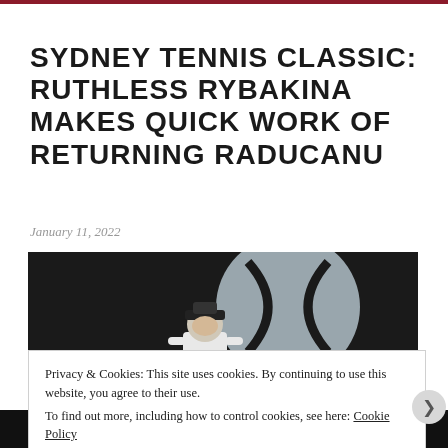SYDNEY TENNIS CLASSIC: RUTHLESS RYBAKINA MAKES QUICK WORK OF RETURNING RADUCANU
January 11, 2022
[Figure (photo): Tennis player Elena Rybakina wearing a black cap, photographed in front of a large tennis ball logo at the Sydney Tennis Classic]
Privacy & Cookies: This site uses cookies. By continuing to use this website, you agree to their use.
To find out more, including how to control cookies, see here: Cookie Policy
Close and accept
in less than a week